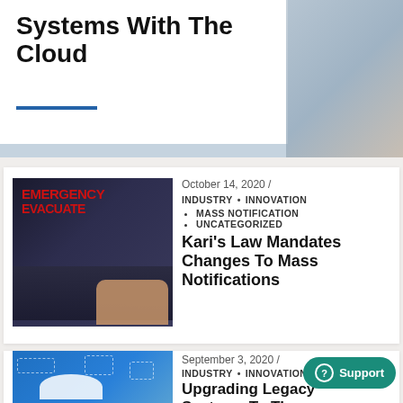Systems With The Cloud
[Figure (photo): Blog article thumbnail showing emergency evacuate sign on laptop screen with person typing]
October 14, 2020 /
INDUSTRY • INNOVATION
MASS NOTIFICATION
UNCATEGORIZED
Kari's Law Mandates Changes To Mass Notifications
[Figure (photo): Blog article thumbnail showing cloud computing network diagram on blue background]
September 3, 2020 /
INDUSTRY • INNOVATION
Upgrading Legacy Systems To The Modern